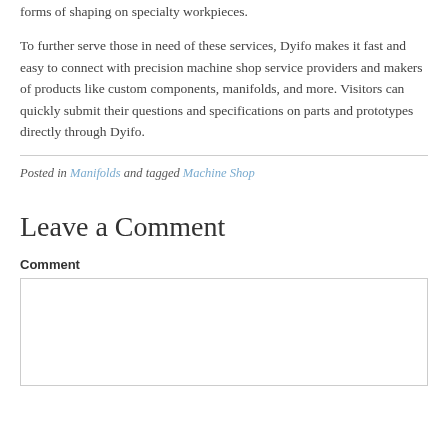forms of shaping on specialty workpieces.
To further serve those in need of these services, Dyifo makes it fast and easy to connect with precision machine shop service providers and makers of products like custom components, manifolds, and more. Visitors can quickly submit their questions and specifications on parts and prototypes directly through Dyifo.
Posted in Manifolds and tagged Machine Shop
Leave a Comment
Comment